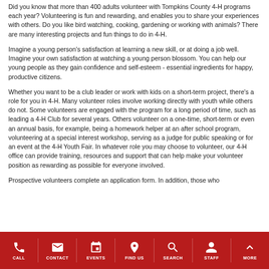Did you know that more than 400 adults volunteer with Tompkins County 4-H programs each year? Volunteering is fun and rewarding, and enables you to share your experiences with others. Do you like bird watching, cooking, gardening or working with animals? There are many interesting projects and fun things to do in 4-H.
Imagine a young person's satisfaction at learning a new skill, or at doing a job well. Imagine your own satisfaction at watching a young person blossom. You can help our young people as they gain confidence and self-esteem - essential ingredients for happy, productive citizens.
Whether you want to be a club leader or work with kids on a short-term project, there's a role for you in 4-H. Many volunteer roles involve working directly with youth while others do not. Some volunteers are engaged with the program for a long period of time, such as leading a 4-H Club for several years. Others volunteer on a one-time, short-term or even an annual basis, for example, being a homework helper at an after school program, volunteering at a special interest workshop, serving as a judge for public speaking or for an event at the 4-H Youth Fair. In whatever role you may choose to volunteer, our 4-H office can provide training, resources and support that can help make your volunteer position as rewarding as possible for everyone involved.
Prospective volunteers complete an application form. In addition, those who
CALL  CONTACT  EVENTS  FIND US  SEARCH  STAFF  MORE